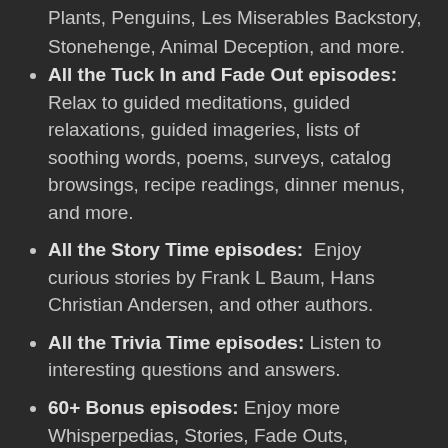Plants, Penguins, Les Miserables Backstory, Stonehenge, Animal Deception, and more.
All the Tuck In and Fade Out episodes: Relax to guided meditations, guided relaxations, guided imageries, lists of soothing words, poems, surveys, catalog browsings, recipe readings, dinner menus, and more.
All the Story Time episodes: Enjoy curious stories by Frank L Baum, Hans Christian Andersen, and other authors.
All the Trivia Time episodes: Listen to interesting questions and answers.
60+ Bonus episodes: Enjoy more Whisperpedias, Stories, Fade Outs, Trivia...as well as...music, interviews, tapping, crinkling, drinking, chewing, outdoor recordings, simulated pilot voices, microphone testing, bible stories, 2-hour long